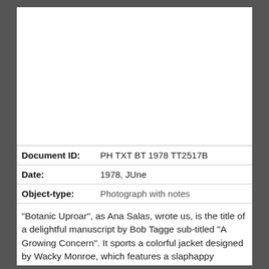[Figure (photo): Blank white photograph area at top of document]
| Document ID: | PH TXT BT 1978 TT2517B |
| Date: | 1978, JUne |
| Object-type: | Photograph with notes |
“Botanic Uproar”, as Ana Salas, wrote us, is the title of a delightful manuscript by Bob Tagge sub-titled “A Growing Concern”. It sports a colorful jacket designed by Wacky Monroe, which features a slaphappy scarecrow and promises “A Bushel of Fauls.”